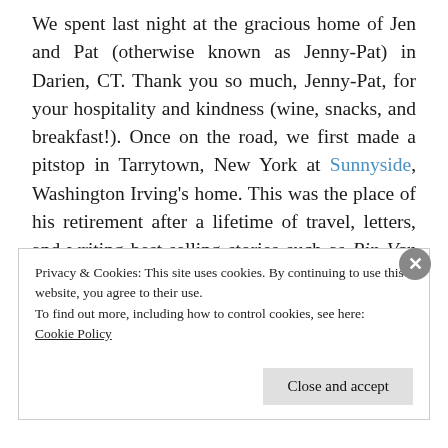We spent last night at the gracious home of Jen and Pat (otherwise known as Jenny-Pat) in Darien, CT. Thank you so much, Jenny-Pat, for your hospitality and kindness (wine, snacks, and breakfast!). Once on the road, we first made a pitstop in Tarrytown, New York at Sunnyside, Washington Irving's home. This was the place of his retirement after a lifetime of travel, letters, and writing best-selling stories such as Rip Van Winkle and The Legend of Sleepy Hollow. Not surprisingly, as the authors on our tour moved
Privacy & Cookies: This site uses cookies. By continuing to use this website, you agree to their use.
To find out more, including how to control cookies, see here:
Cookie Policy
Close and accept